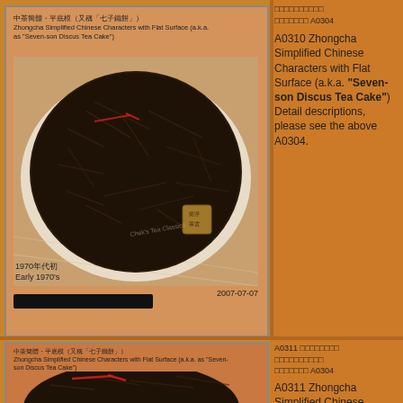中茶簡體・平底模（又稱「七子鐵餅」）
Zhongcha Simplified Chinese Characters with Flat Surface (a.k.a. as "Seven-son Discus Tea Cake")
[Figure (photo): Circular compressed dark tea cake (pu-erh), viewed from above, on white cloth/paper. A small square stamp is visible on the lower right of the cake. Text watermark 'Chek's Tea Classics' is present.]
1970年代初
Early 1970's
2007-07-07
A0310 Zhongcha Simplified Chinese Characters with Flat Surface (a.k.a. "Seven-son Discus Tea Cake") Detail descriptions, please see the above A0304.
中茶簡體・平底模（又稱「七子鐵餅」）
Zhongcha Simplified Chinese Characters with Flat Surface (a.k.a. as "Seven-son Discus Tea Cake")
[Figure (photo): Partial view of a compressed dark tea cake (pu-erh), showing the top surface with some red ribbon/string visible.]
A0311 Zhongcha Simplified Chinese Characters with Flat Surface (a.k.a. "Seven-son Discus Tea Cake"). Detail descriptions, please see the above A0304.

A0311 Zhongcha Simplified Chinese